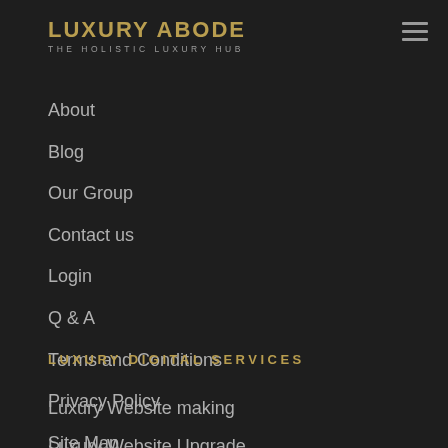LUXURY ABODE
THE HOLISTIC LUXURY HUB
About
Blog
Our Group
Contact us
Login
Q & A
Terms and Conditions
Privacy Policy
Site Map
LUXURY DIGITAL SERVICES
Luxury Website making
Luxury Website Upgrade